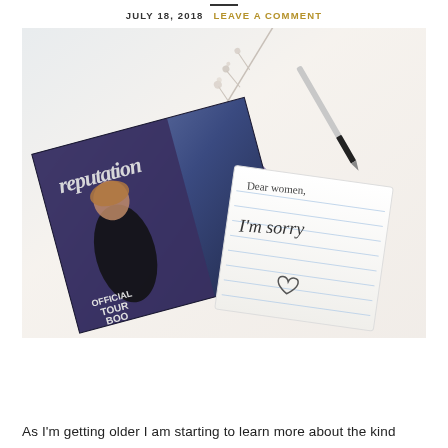JULY 18, 2018   LEAVE A COMMENT
[Figure (photo): Flat lay photo of Taylor Swift Reputation Official Tour Book magazine on a white surface, alongside a notepad with handwritten text 'Dear women, I'm sorry' with a heart, dried flowers, a pen, small gold heart decorations, and a purple crystal.]
As I'm getting older I am starting to learn more about the kind